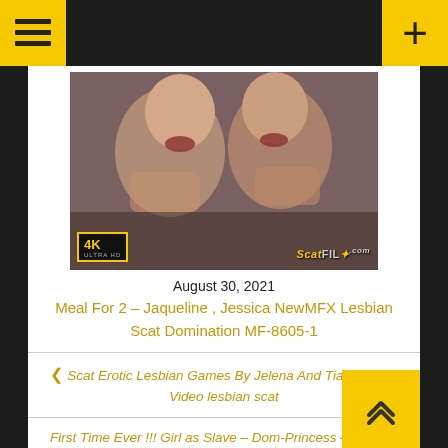[Figure (photo): Thumbnail image of two women with 4K Ultra HD badge overlay and ScatFil watermark]
August 30, 2021
Meal For 2 – Jaqueline , Jessica NewMFX Lesbian Scat Domination MF-8605-1
❮ Scat Erotic Lesbian Games By Jelena And Tiana – SG-Video lesbian scat
First Time Ever !!! Girl as Slave – Dom-Princess – shitting, new toilet slavery ❯
Leave a Reply
Your email address will not be published. Required fields